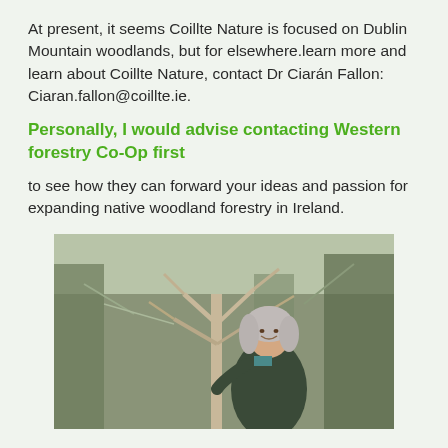At present, it seems Coillte Nature is focused on Dublin Mountain woodlands, but for elsewhere.learn more and learn about Coillte Nature, contact Dr Ciarán Fallon: Ciaran.fallon@coillte.ie.
Personally, I would advise contacting Western forestry Co-Op first
to see how they can forward your ideas and passion for expanding native woodland forestry in Ireland.
[Figure (photo): A woman with grey hair smiling and holding the trunk of a small bare tree in a woodland setting, wearing a dark jacket.]